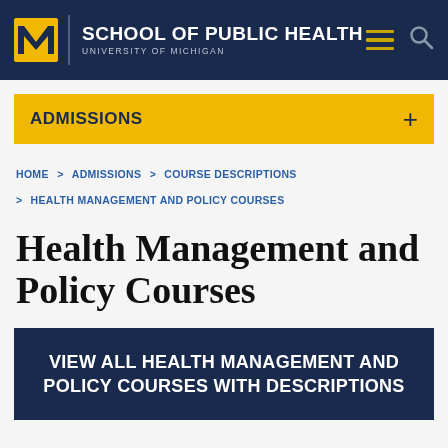SCHOOL OF PUBLIC HEALTH UNIVERSITY OF MICHIGAN
ADMISSIONS +
HOME > ADMISSIONS > COURSE DESCRIPTIONS > HEALTH MANAGEMENT AND POLICY COURSES
Health Management and Policy Courses
VIEW ALL HEALTH MANAGEMENT AND POLICY COURSES WITH DESCRIPTIONS